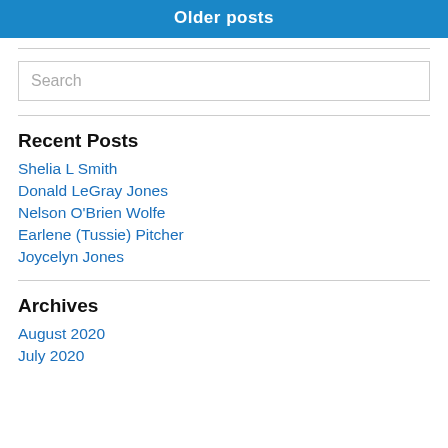Older posts
Search
Recent Posts
Shelia L Smith
Donald LeGray Jones
Nelson O'Brien Wolfe
Earlene (Tussie) Pitcher
Joycelyn Jones
Archives
August 2020
July 2020